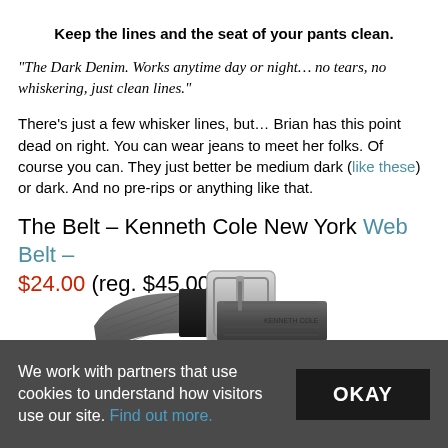Keep the lines and the seat of your pants clean.
"The Dark Denim. Works anytime day or night... no tears, no whiskering, just clean lines."
There's just a few whisker lines, but... Brian has this point dead on right. You can wear jeans to meet her folks. Of course you can. They just better be medium dark (like these) or dark. And no pre-rips or anything like that.
The Belt – Kenneth Cole New York Web Belt – $24.00 (reg. $45.00)
[Figure (photo): Close-up photo of a Kenneth Cole New York dark gray web belt with a silver rectangular buckle, curled on a white background.]
We work with partners that use cookies to understand how visitors use our site. Find out more.